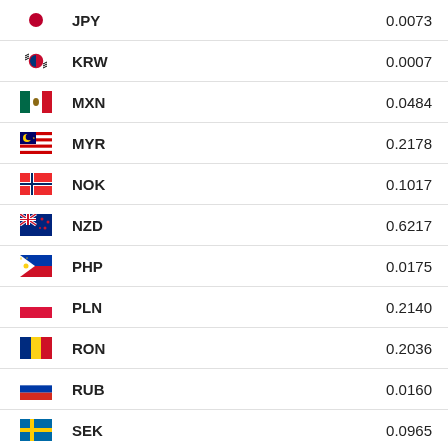| Flag | Currency | Rate |
| --- | --- | --- |
| JPY | JPY | 0.0073 |
| KRW | KRW | 0.0007 |
| MXN | MXN | 0.0484 |
| MYR | MYR | 0.2178 |
| NOK | NOK | 0.1017 |
| NZD | NZD | 0.6217 |
| PHP | PHP | 0.0175 |
| PLN | PLN | 0.2140 |
| RON | RON | 0.2036 |
| RUB | RUB | 0.0160 |
| SEK | SEK | 0.0965 |